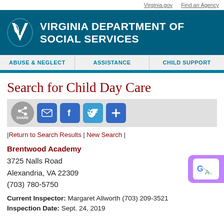Virginia.gov   Find an Agency
[Figure (logo): Virginia Department of Social Services logo with white V emblem on teal background]
VIRGINIA DEPARTMENT OF SOCIAL SERVICES
ABUSE & NEGLECT   ASSISTANCE   CHILD SUPPORT
Search for Child Day Care
[Figure (infographic): Share bar with circular share button, email, Facebook, Twitter, and plus icons]
|Return to Search Results | New Search |
Brentwood Academy
3725 Nalls Road
Alexandria, VA 22309
(703) 780-5750
Current Inspector: Margaret Allworth (703) 209-3521
Inspection Date: Sept. 24, 2019